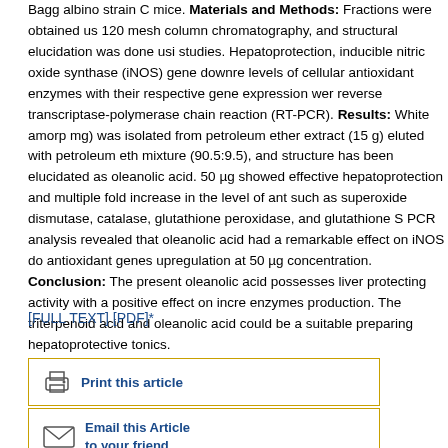Bagg albino strain C mice. Materials and Methods: Fractions were obtained using 120 mesh column chromatography, and structural elucidation was done using studies. Hepatoprotection, inducible nitric oxide synthase (iNOS) gene downregulation, levels of cellular antioxidant enzymes with their respective gene expression were reverse transcriptase-polymerase chain reaction (RT-PCR). Results: White amorphous (mg) was isolated from petroleum ether extract (15 g) eluted with petroleum ether mixture (90.5:9.5), and structure has been elucidated as oleanolic acid. 50 µg showed effective hepatoprotection and multiple fold increase in the level of antioxidants such as superoxide dismutase, catalase, glutathione peroxidase, and glutathione S-PCR analysis revealed that oleanolic acid had a remarkable effect on iNOS downregulation antioxidant genes upregulation at 50 µg concentration. Conclusion: The present study oleanolic acid possesses liver protecting activity with a positive effect on increasing enzymes production. The triterpenoid acid and oleanolic acid could be a suitable for preparing hepatoprotective tonics.
[FULL TEXT] [PDF]*
[Figure (other): Print this article button with printer icon, bordered in gold/orange]
[Figure (other): Email this Article to your friend button with envelope icon, bordered in gold/orange]